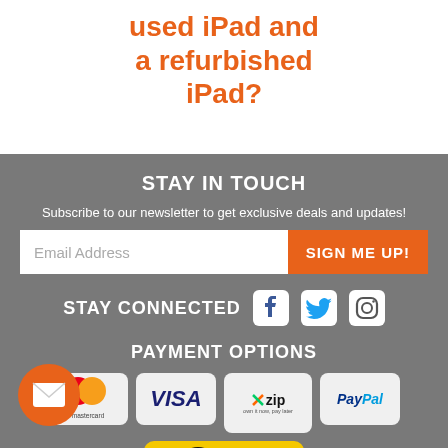used iPad and a refurbished iPad?
STAY IN TOUCH
Subscribe to our newsletter to get exclusive deals and updates!
Email Address | SIGN ME UP!
STAY CONNECTED
[Figure (logo): Facebook, Twitter, Instagram social media icons]
PAYMENT OPTIONS
[Figure (logo): Mastercard payment logo]
[Figure (logo): Visa payment logo]
[Figure (logo): Zip - own it now, pay later logo]
[Figure (logo): PayPal payment logo]
[Figure (logo): eWay payment gateway logo]
[Figure (logo): Mail/envelope icon in orange circle]